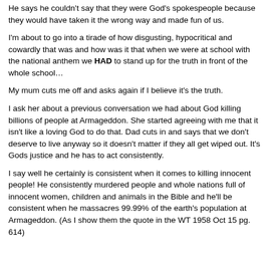He says he couldn't say that they were God's spokespeople because they would have taken it the wrong way and made fun of us.
I'm about to go into a tirade of how disgusting, hypocritical and cowardly that was and how was it that when we were at school with the national anthem we HAD to stand up for the truth in front of the whole school…
My mum cuts me off and asks again if I believe it's the truth.
I ask her about a previous conversation we had about God killing billions of people at Armageddon. She started agreeing with me that it isn't like a loving God to do that. Dad cuts in and says that we don't deserve to live anyway so it doesn't matter if they all get wiped out. It's Gods justice and he has to act consistently.
I say well he certainly is consistent when it comes to killing innocent people! He consistently murdered people and whole nations full of innocent women, children and animals in the Bible and he'll be consistent when he massacres 99.99% of the earth's population at Armageddon. (As I show them the quote in the WT 1958 Oct 15 pg. 614)